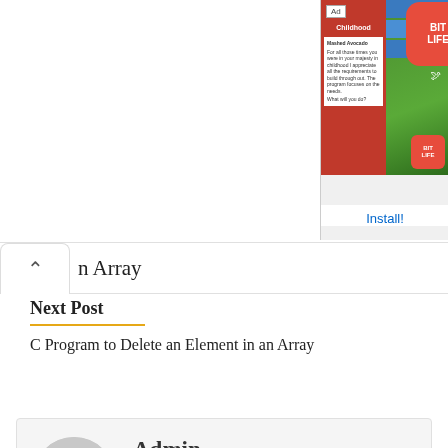[Figure (screenshot): Advertisement banner for BitLife game, showing childhood screen and BitLife logo with Install button]
n Array
Next Post
C Program to Delete an Element in an Array
Admin
Hello my name is yogi and i am the owner of